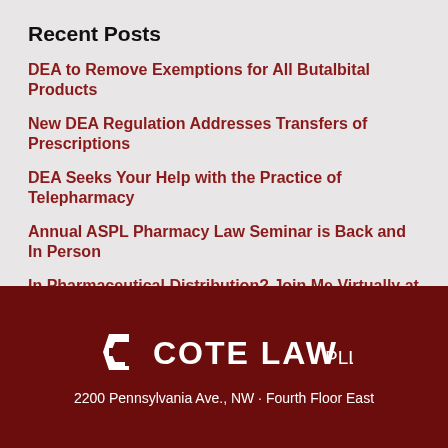Recent Posts
DEA to Remove Exemptions for All Butalbital Products
New DEA Regulation Addresses Transfers of Prescriptions
DEA Seeks Your Help with the Practice of Telepharmacy
Annual ASPL Pharmacy Law Seminar is Back and In Person
In Pharmaceutical Distribution? Join Me Virtually at the Distribution Management Conference
[Figure (logo): Cote Law PLLC logo — white geometric CL monogram icon followed by text COTE LAW in bold white capitals, then PLLC in smaller weight, on dark red background]
2200 Pennsylvania Ave., NW · Fourth Floor East